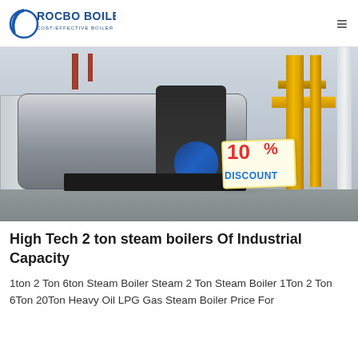ROCBO BOILER — COST-EFFECTIVE BOILER SUPPLIER
[Figure (photo): Industrial boiler in a factory setting. Large horizontal steam boiler with blue pump/motor, yellow vertical pipes on right side, copper/red pipes in upper area. White column on far right. 10% DISCOUNT badge overlay in lower right corner of photo.]
High Tech 2 ton steam boilers Of Industrial Capacity
1ton 2 Ton 6ton Steam Boiler Steam 2 Ton Steam Boiler 1Ton 2 Ton 6Ton 20Ton Heavy Oil LPG Gas Steam Boiler Price For